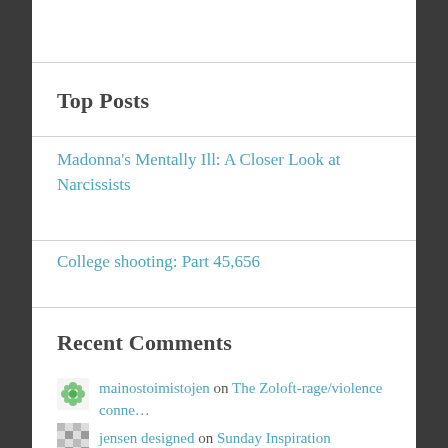Top Posts
Madonna's Mentally Ill: A Closer Look at Narcissists
College shooting: Part 45,656
Recent Comments
mainostoimistojen on The Zoloft-rage/violence conne…
jensen designed on Sunday Inspiration